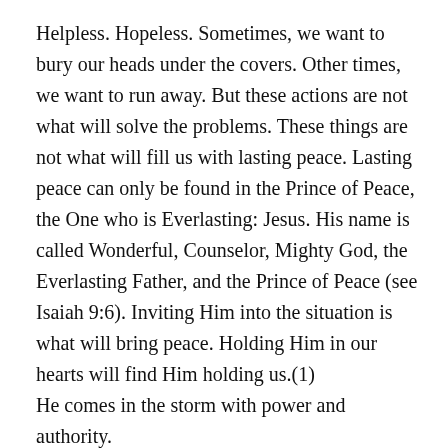Helpless. Hopeless. Sometimes, we want to bury our heads under the covers. Other times, we want to run away. But these actions are not what will solve the problems. These things are not what will fill us with lasting peace. Lasting peace can only be found in the Prince of Peace, the One who is Everlasting: Jesus. His name is called Wonderful, Counselor, Mighty God, the Everlasting Father, and the Prince of Peace (see Isaiah 9:6). Inviting Him into the situation is what will bring peace. Holding Him in our hearts will find Him holding us.(1)
He comes in the storm with power and authority.